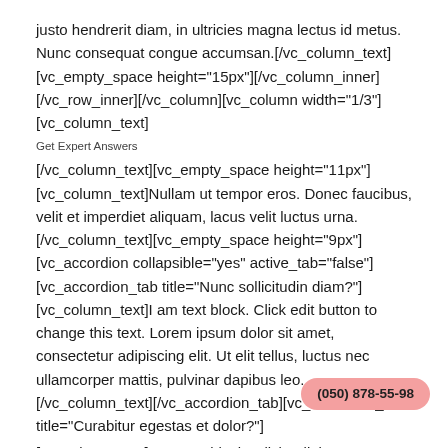justo hendrerit diam, in ultricies magna lectus id metus. Nunc consequat congue accumsan.[/vc_column_text][vc_empty_space height="15px"][/vc_column_inner][/vc_row_inner][/vc_column][vc_column width="1/3"][vc_column_text]
Get Expert Answers
[/vc_column_text][vc_empty_space height="11px"][vc_column_text]Nullam ut tempor eros. Donec faucibus, velit et imperdiet aliquam, lacus velit luctus urna.[/vc_column_text][vc_empty_space height="9px"][vc_accordion collapsible="yes" active_tab="false"][vc_accordion_tab title="Nunc sollicitudin diam?"][vc_column_text]I am text block. Click edit button to change this text. Lorem ipsum dolor sit amet, consectetur adipiscing elit. Ut elit tellus, luctus nec ullamcorper mattis, pulvinar dapibus leo.[/vc_column_text][/vc_accordion_tab][vc_accordion_tab title="Curabitur egestas et dolor?"]
[vc_column_text]I am text block. Click edit button to change this